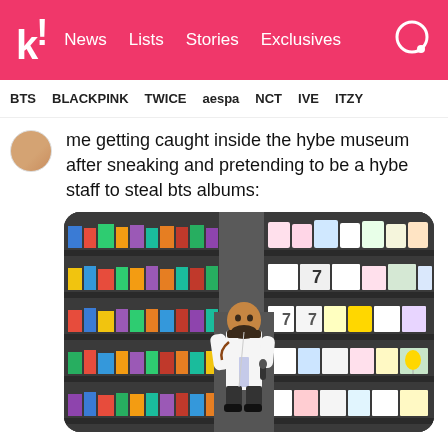k! News Lists Stories Exclusives
BTS BLACKPINK TWICE aespa NCT IVE ITZY
me getting caught inside the hybe museum after sneaking and pretending to be a hybe staff to steal bts albums:
[Figure (photo): Photo of a man in a white lab coat standing in front of floor-to-ceiling shelves filled with K-pop albums and merchandise at what appears to be the HYBE Museum store.]